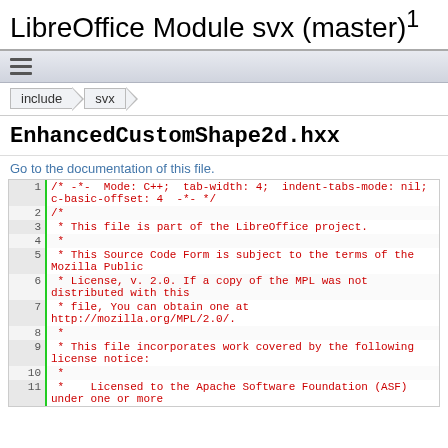LibreOffice Module svx (master) 1
[Figure (screenshot): Navigation menu bar with hamburger icon]
include > svx
EnhancedCustomShape2d.hxx
Go to the documentation of this file.
1  /* -*-  Mode: C++;  tab-width: 4;  indent-tabs-mode: nil;  c-basic-offset: 4  -*- */
2  /*
3   * This file is part of the LibreOffice project.
4   *
5   * This Source Code Form is subject to the terms of the Mozilla Public
6   * License, v. 2.0. If a copy of the MPL was not distributed with this
7   * file, You can obtain one at http://mozilla.org/MPL/2.0/.
8   *
9   * This file incorporates work covered by the following license notice:
10  *
11  *    Licensed to the Apache Software Foundation (ASF) under one or more